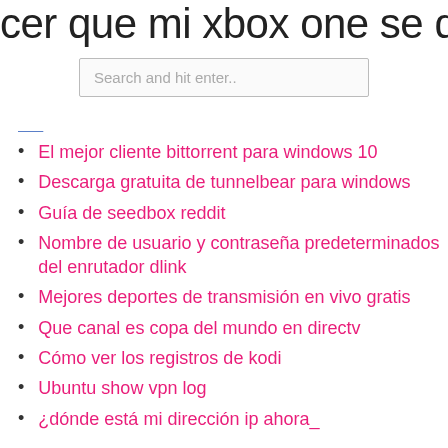cer que mi xbox one se descargue m
[Figure (screenshot): Search input box with placeholder text 'Search and hit enter..']
El mejor cliente bittorrent para windows 10
Descarga gratuita de tunnelbear para windows
Guía de seedbox reddit
Nombre de usuario y contraseña predeterminados del enrutador dlink
Mejores deportes de transmisión en vivo gratis
Que canal es copa del mundo en directv
Cómo ver los registros de kodi
Ubuntu show vpn log
¿dónde está mi dirección ip ahora_